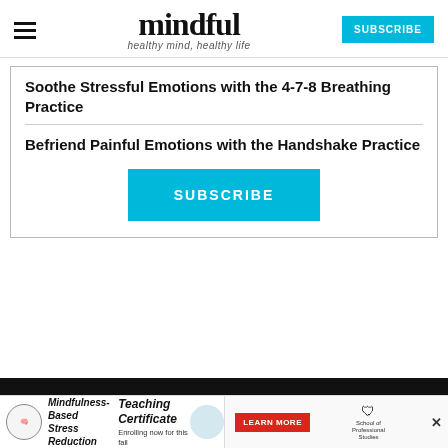mindful — healthy mind, healthy life
Soothe Stressful Emotions with the 4-7-8 Breathing Practice
Befriend Painful Emotions with the Handshake Practice
[Figure (other): SUBSCRIBE button in cyan/teal]
[Figure (other): Advertisement banner: Mindfulness-Based Stress Reduction Teaching Certificate - Enrolling now for this fall, with LEARN MORE button and School of Professional Studies logo]